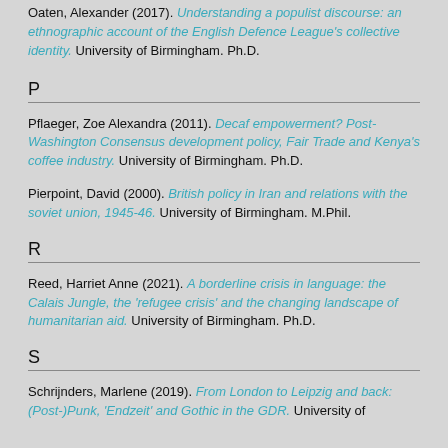Oaten, Alexander (2017). Understanding a populist discourse: an ethnographic account of the English Defence League's collective identity. University of Birmingham. Ph.D.
P
Pflaeger, Zoe Alexandra (2011). Decaf empowerment? Post-Washington Consensus development policy, Fair Trade and Kenya's coffee industry. University of Birmingham. Ph.D.
Pierpoint, David (2000). British policy in Iran and relations with the soviet union, 1945-46. University of Birmingham. M.Phil.
R
Reed, Harriet Anne (2021). A borderline crisis in language: the Calais Jungle, the 'refugee crisis' and the changing landscape of humanitarian aid. University of Birmingham. Ph.D.
S
Schrijnders, Marlene (2019). From London to Leipzig and back: (Post-)Punk, 'Endzeit' and Gothic in the GDR. University of...